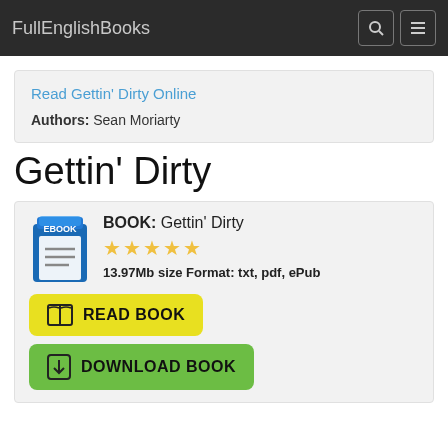FullEnglishBooks
Read Gettin' Dirty Online
Authors: Sean Moriarty
Gettin' Dirty
BOOK: Gettin' Dirty
★★★★★
13.97Mb size Format: txt, pdf, ePub
READ BOOK
DOWNLOAD BOOK